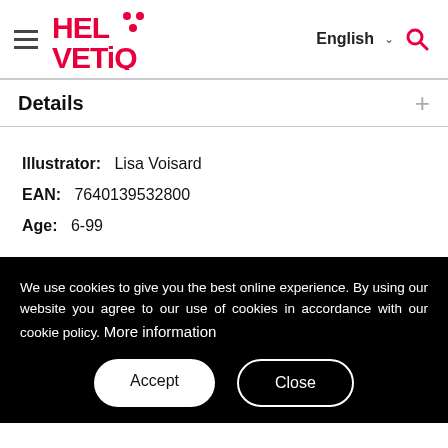[Figure (logo): HELVETiQ logo in red with hamburger menu icon on the left, English language selector and search icon on the right]
Details
Illustrator: Lisa Voisard
EAN: 7640139532800
Age: 6-99
We use cookies to give you the best online experience. By using our website you agree to our use of cookies in accordance with our cookie policy. More information
Accept
Close